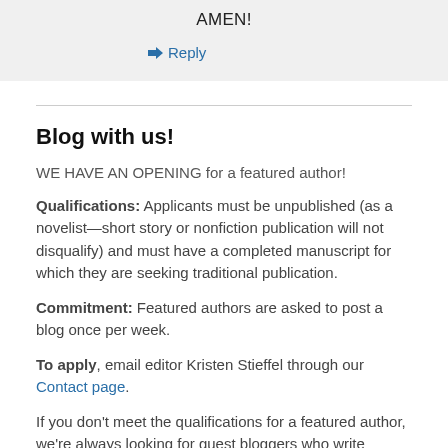AMEN!
↳ Reply
Blog with us!
WE HAVE AN OPENING for a featured author!
Qualifications: Applicants must be unpublished (as a novelist—short story or nonfiction publication will not disqualify) and must have a completed manuscript for which they are seeking traditional publication.
Commitment: Featured authors are asked to post a blog once per week.
To apply, email editor Kristen Stieffel through our Contact page.
If you don't meet the qualifications for a featured author, we're always looking for guest bloggers who write Christian SpecFic. Guest bloggers